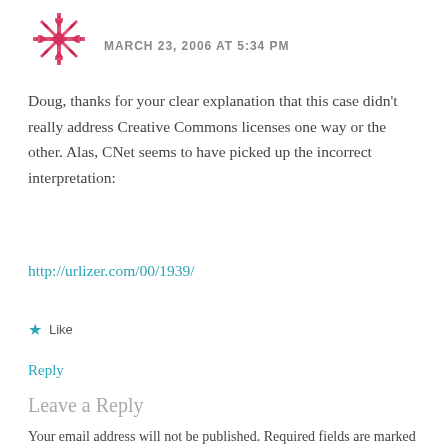[Figure (illustration): Pink/red decorative avatar icon made of geometric snowflake-like pattern]
MARCH 23, 2006 AT 5:34 PM
Doug, thanks for your clear explanation that this case didn't really address Creative Commons licenses one way or the other. Alas, CNet seems to have picked up the incorrect interpretation:
http://urlizer.com/00/1939/
★ Like
Reply
Leave a Reply
Your email address will not be published. Required fields are marked *